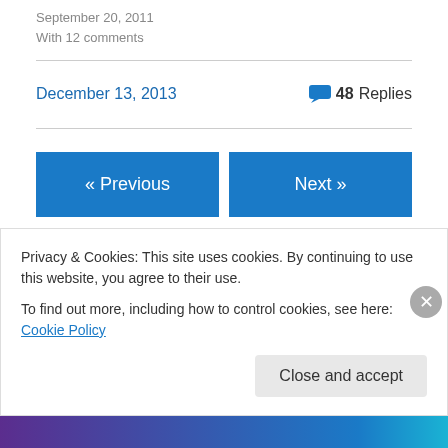September 20, 2011
With 12 comments
December 13, 2013
48 Replies
« Previous
Next »
Leave a Reply
Your email address will not be published. Required fields
Privacy & Cookies: This site uses cookies. By continuing to use this website, you agree to their use.
To find out more, including how to control cookies, see here: Cookie Policy
Close and accept